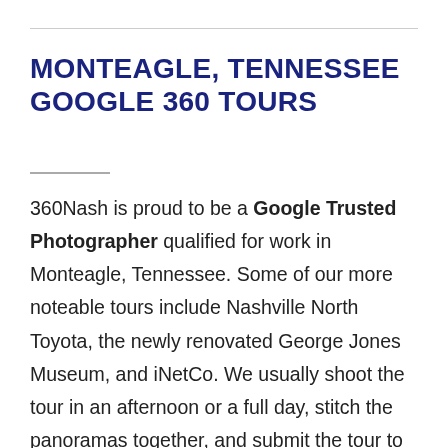MONTEAGLE, TENNESSEE GOOGLE 360 TOURS
360Nash is proud to be a Google Trusted Photographer qualified for work in Monteagle, Tennessee. Some of our more noteable tours include Nashville North Toyota, the newly renovated George Jones Museum, and iNetCo. We usually shoot the tour in an afternoon or a full day, stitch the panoramas together, and submit the tour to Google for ingestion. Links